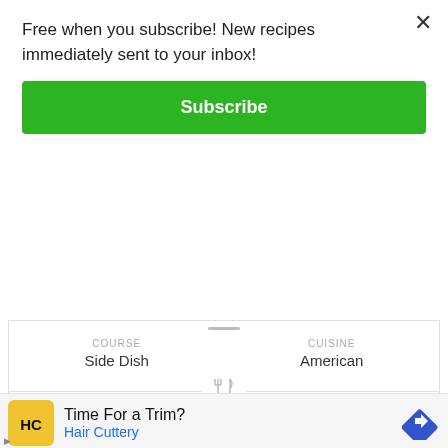Free when you subscribe! New recipes immediately sent to your inbox!
Subscribe
COURSE
Side Dish
CUISINE
American
SERVINGS
6
EQUIPMENT
Pressure Cooker
[Figure (infographic): Ad banner: Time For a Trim? Hair Cuttery advertisement with yellow logo and blue arrow icon]